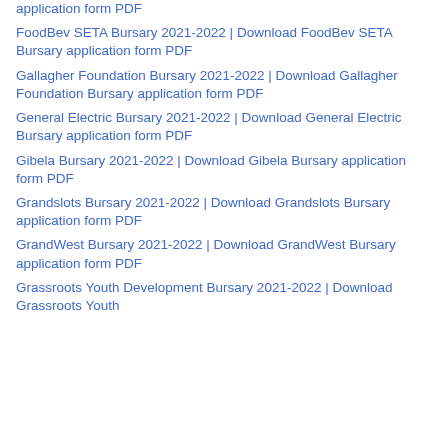application form PDF
FoodBev SETA Bursary 2021-2022 | Download FoodBev SETA Bursary application form PDF
Gallagher Foundation Bursary 2021-2022 | Download Gallagher Foundation Bursary application form PDF
General Electric Bursary 2021-2022 | Download General Electric Bursary application form PDF
Gibela Bursary 2021-2022 | Download Gibela Bursary application form PDF
Grandslots Bursary 2021-2022 | Download Grandslots Bursary application form PDF
GrandWest Bursary 2021-2022 | Download GrandWest Bursary application form PDF
Grassroots Youth Development Bursary 2021-2022 | Download Grassroots Youth